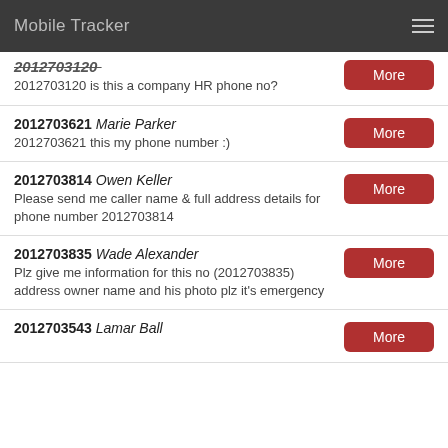Mobile Tracker
2012703120 is this a company HR phone no?
2012703621 Marie Parker
2012703621 this my phone number :)
2012703814 Owen Keller
Please send me caller name & full address details for phone number 2012703814
2012703835 Wade Alexander
Plz give me information for this no (2012703835) address owner name and his photo plz it's emergency
2012703543 Lamar Ball